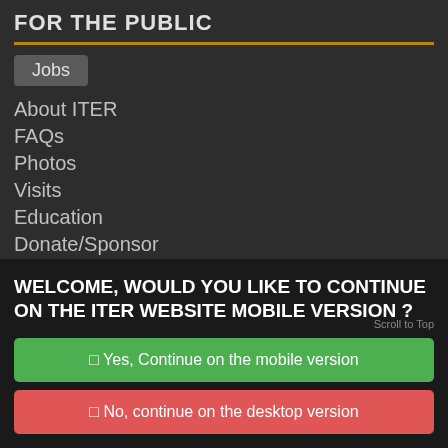FOR THE PUBLIC
Jobs
About ITER
FAQs
Photos
Visits
Education
Donate/Sponsor
FOR THE PRESS
WELCOME, WOULD YOU LIKE TO CONTINUE ON THE ITER WEBSITE MOBILE VERSION ?
☐ Yes, Continue on the mobile version
☐ No, continue on the desktop version